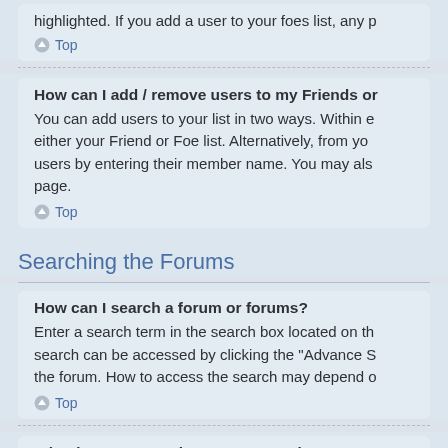highlighted. If you add a user to your foes list, any p
Top
How can I add / remove users to my Friends or
You can add users to your list in two ways. Within e either your Friend or Foe list. Alternatively, from yo users by entering their member name. You may als page.
Top
Searching the Forums
How can I search a forum or forums?
Enter a search term in the search box located on th search can be accessed by clicking the "Advance S the forum. How to access the search may depend o
Top
Why does my search return no results?
Your search was probably too vague and included phpBB3. Be more specific and use the options ava